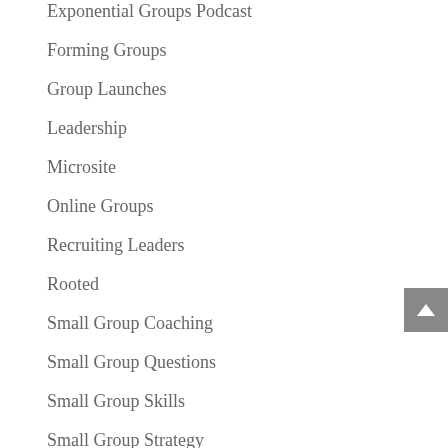Exponential Groups Podcast
Forming Groups
Group Launches
Leadership
Microsite
Online Groups
Recruiting Leaders
Rooted
Small Group Coaching
Small Group Questions
Small Group Skills
Small Group Strategy
Small Groups